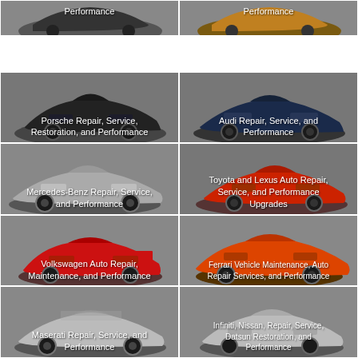[Figure (illustration): Partial top row cell 1 - car with text 'Performance']
[Figure (illustration): Partial top row cell 2 - orange/gold car with text 'Performance']
[Figure (illustration): Porsche Repair, Service, Restoration, and Performance]
[Figure (illustration): Audi Repair, Service, and Performance]
[Figure (illustration): Mercedes-Benz Repair, Service, and Performance]
[Figure (illustration): Toyota and Lexus Auto Repair, Service, and Performance Upgrades]
[Figure (illustration): Volkswagen Auto Repair, Maintenance, and Performance]
[Figure (illustration): Ferrari Vehicle Maintenance, Auto Repair Services, and Performance]
[Figure (illustration): Maserati Repair, Service, and Performance]
[Figure (illustration): Infiniti, Nissan, Repair, Service, Datsun Restoration, and Performance]
[Figure (illustration): Land Rover Repair, Service, and Performance]
[Figure (illustration): Fiat Repair, Service, and Performance]